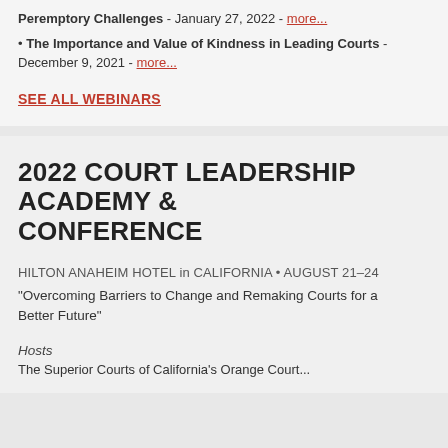Peremptory Challenges - January 27, 2022 - more...
The Importance and Value of Kindness in Leading Courts - December 9, 2021 - more...
SEE ALL WEBINARS
2022 COURT LEADERSHIP ACADEMY & CONFERENCE
HILTON ANAHEIM HOTEL in CALIFORNIA • AUGUST 21–24
"Overcoming Barriers to Change and Remaking Courts for a Better Future"
Hosts
The Superior Courts of California's Orange Court...